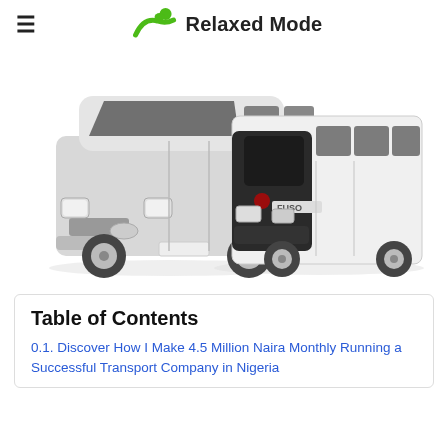≡  Relaxed Mode
[Figure (photo): Two white minivans/buses side by side on white background: a Toyota HiAce on the left and a Mitsubishi Fuso Rosa on the right.]
Table of Contents
0.1. Discover How I Make 4.5 Million Naira Monthly Running a Successful Transport Company in Nigeria